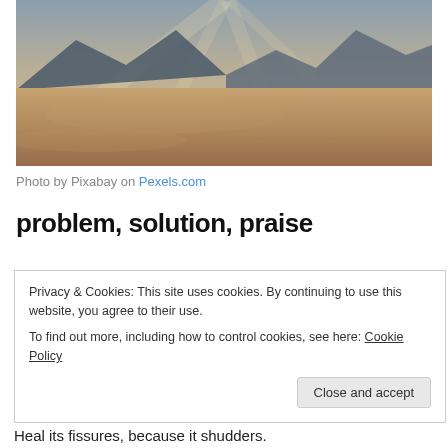[Figure (photo): Aerial landscape photograph showing fog-covered terrain with mountain ridges in background and dramatic light rays breaking through cloudy sky]
Photo by Pixabay on Pexels.com
problem, solution, praise
Privacy & Cookies: This site uses cookies. By continuing to use this website, you agree to their use.
To find out more, including how to control cookies, see here: Cookie Policy
Heal its fissures, because it shudders.